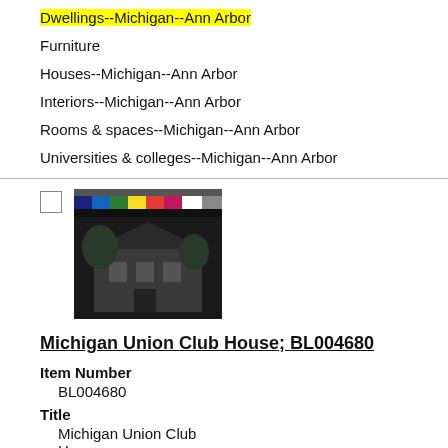Dwellings--Michigan--Ann Arbor
Furniture
Houses--Michigan--Ann Arbor
Interiors--Michigan--Ann Arbor
Rooms & spaces--Michigan--Ann Arbor
Universities & colleges--Michigan--Ann Arbor
[Figure (photo): Thumbnail image of Michigan Union Club House with color calibration strip at top]
Michigan Union Club House; BL004680
Item Number
BL004680
Title
Michigan Union Club House